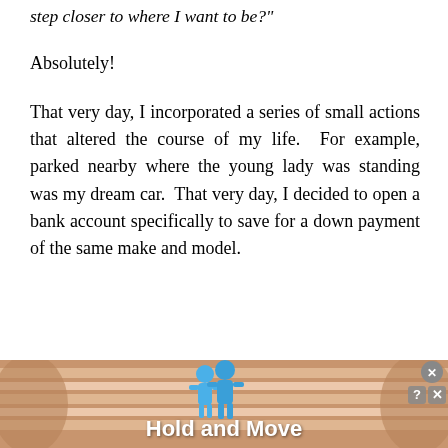"is there anything I can do right now to bring me one step closer to where I want to be?"
Absolutely!
That very day, I incorporated a series of small actions that altered the course of my life. For example, parked nearby where the young lady was standing was my dream car. That very day, I decided to open a bank account specifically to save for a down payment of the same make and model.
[Figure (screenshot): Advertisement banner with peach/salmon colored background showing two blue cartoon figures and text 'Hold and Move' in white bold font, with close and help buttons in top right corner]